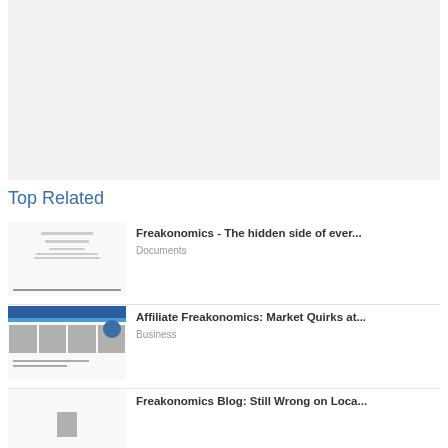[Figure (other): Advertisement placeholder area with light gray background]
Top Related
[Figure (screenshot): Thumbnail of Freakonomics document cover page with text lines]
Freakonomics - The hidden side of ever...
Documents
[Figure (screenshot): Thumbnail of Affiliate Freakonomics document with blue header and images]
Affiliate Freakonomics: Market Quirks at...
Business
[Figure (screenshot): Thumbnail of Freakonomics Blog document with icon]
Freakonomics Blog: Still Wrong on Loca...